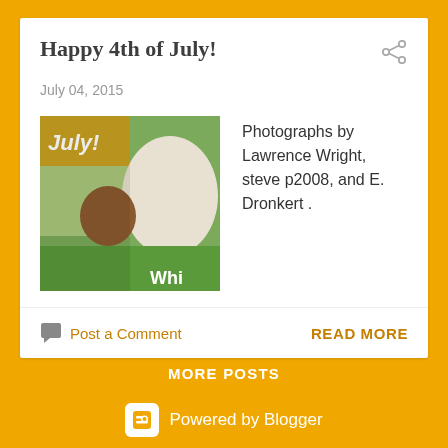Happy 4th of July!
July 04, 2015
[Figure (photo): Thumbnail image showing a July calendar page with an animal (dog or similar) in a grassy outdoor setting, with text overlay 'Whi']
Photographs by Lawrence Wright, steve p2008, and E. Dronkert .
Post a Comment
READ MORE
MORE POSTS
Powered by Blogger